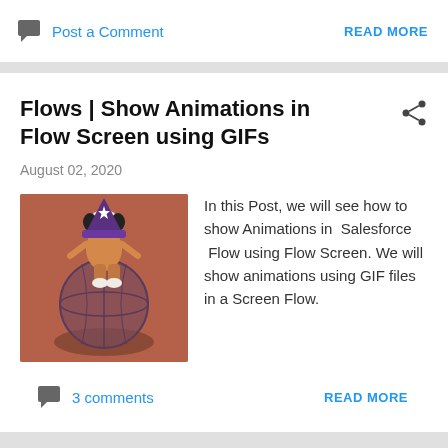Post a Comment
READ MORE
Flows | Show Animations in Flow Screen using GIFs
August 02, 2020
[Figure (illustration): Snoopy character dressed as a wizard with star hat, standing in front of a globe or crystal ball, orange/brown background]
In this Post, we will see how to show Animations in  Salesforce  Flow using Flow Screen. We will show animations using GIF files in a Screen Flow.
3 comments
READ MORE
Flow Project Belli Ele...